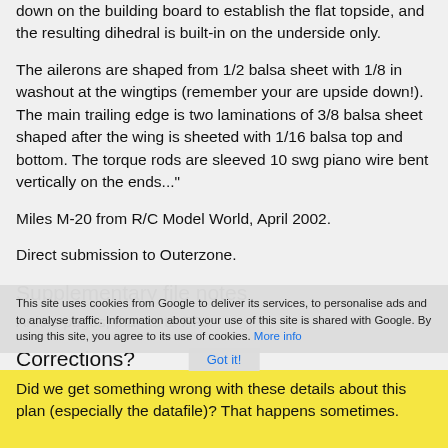down on the building board to establish the flat topside, and the resulting dihedral is built-in on the underside only.
The ailerons are shaped from 1/2 balsa sheet with 1/8 in washout at the wingtips (remember your are upside down!). The main trailing edge is two laminations of 3/8 balsa sheet shaped after the wing is sheeted with 1/16 balsa top and bottom. The torque rods are sleeved 10 swg piano wire bent vertically on the ends..."
Miles M-20 from R/C Model World, April 2002.
Direct submission to Outerzone.
Supplementary file notes
Article pages, thanks to RFJ.
Corrections?
Did we get something wrong with these details about this plan (especially the datafile)? That happens sometimes.
This site uses cookies from Google to deliver its services, to personalise ads and to analyse traffic. Information about your use of this site is shared with Google. By using this site, you agree to its use of cookies. More info
Got it!